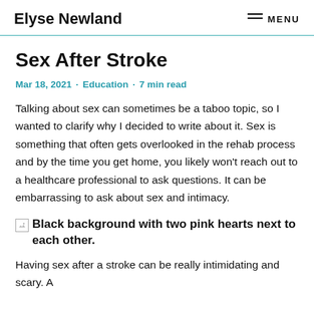Elyse Newland — MENU
Sex After Stroke
Mar 18, 2021 · Education · 7 min read
Talking about sex can sometimes be a taboo topic, so I wanted to clarify why I decided to write about it. Sex is something that often gets overlooked in the rehab process and by the time you get home, you likely won't reach out to a healthcare professional to ask questions. It can be embarrassing to ask about sex and intimacy.
[Figure (photo): Black background with two pink hearts next to each other.]
Having sex after a stroke can be really intimidating and scary. A